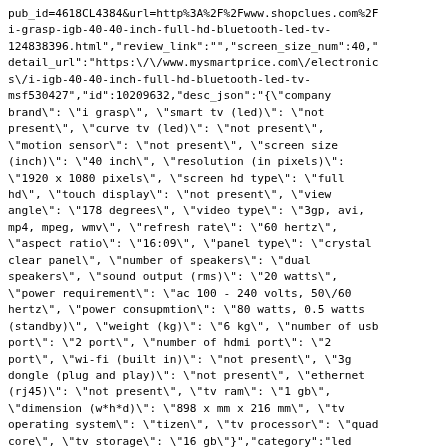pub_id=4618CL4384&url=http%3A%2F%2Fwww.shopclues.com%2Fi-grasp-igb-40-40-inch-full-hd-bluetooth-led-tv-124838396.html","review_link":"","screen_size_num":40,"detail_url":"https:\/\/www.mysmartprice.com\/electronics\/i-igb-40-40-inch-full-hd-bluetooth-led-tv-msf530427","id":10209632,"desc_json":"{\"company brand\": \"i grasp\", \"smart tv (led)\": \"not present\", \"curve tv (led)\": \"not present\", \"motion sensor\": \"not present\", \"screen size (inch)\": \"40 inch\", \"resolution (in pixels)\": \"1920 x 1080 pixels\", \"screen hd type\": \"full hd\", \"touch display\": \"not present\", \"view angle\": \"178 degrees\", \"video type\": \"3gp, avi, mp4, mpeg, wmv\", \"refresh rate\": \"60 hertz\", \"aspect ratio\": \"16:09\", \"panel type\": \"crystal clear panel\", \"number of speakers\": \"dual speakers\", \"sound output (rms)\": \"20 watts\", \"power requirement\": \"ac 100 - 240 volts, 50\/60 hertz\", \"power consupmtion\": \"80 watts, 0.5 watts (standby)\", \"weight (kg)\": \"6 kg\", \"number of usb port\": \"2 port\", \"number of hdmi port\": \"2 port\", \"wi-fi (built in)\": \"not present\", \"3g dongle (plug and play)\": \"not present\", \"ethernet (rj45)\": \"not present\", \"tv ram\": \"1 gb\", \"dimension (w*h*d)\": \"898 x mm x 216 mm\", \"tv operating system\": \"tizen\", \"tv processor\": \"quad core\", \"tv storage\": \"16 gb\"}","category":"led tv","lp_ref_id":10233799,"review_count":0,"grp":"electronics","specification":"<div class='spec_box'><div class='specsLeft'><span class='specHead'>General